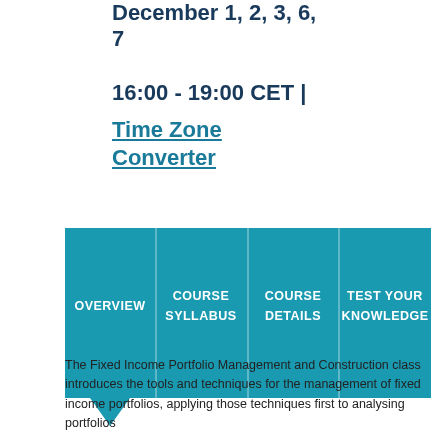December 1, 2, 3, 6, 7
16:00 - 19:00 CET |
Time Zone Converter
[Figure (infographic): Navigation bar with four teal panels: OVERVIEW, COURSE SYLLABUS, COURSE DETAILS, TEST YOUR KNOWLEDGE. A downward arrow pointer is below the OVERVIEW panel.]
The Fixed Income Portfolio Management and Construction class introduces the tools and techniques for the management of fixed income portfolios, applying those techniques first to analysing portfolios